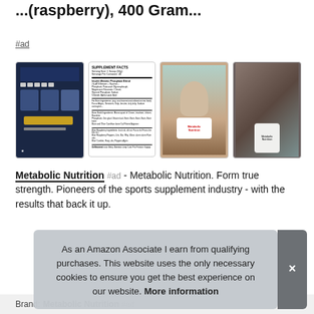...(raspberry), 400 Gram...
#ad
[Figure (screenshot): Four product thumbnail images in a row: 1) dark navy blue product page screenshot, 2) supplement facts label (white background with text), 3) woman holding product with fruit background, 4) athletic action shot with white supplement container]
Metabolic Nutrition #ad - Metabolic Nutrition. Form true strength. Pioneers of the sports supplement industry - with the results that back it up.
As an Amazon Associate I earn from qualifying purchases. This website uses the only necessary cookies to ensure you get the best experience on our website. More information
Brand: Metabolic Nutrition #ad